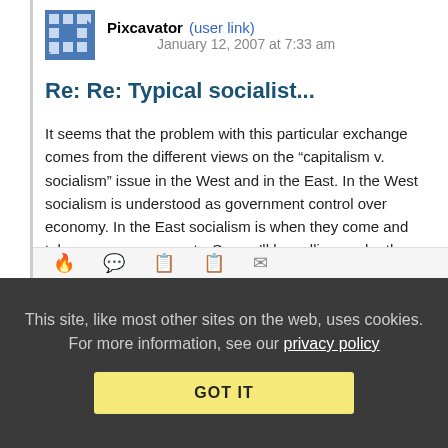Pixcavator (user link)  January 12, 2007 at 7:33 am
Re: Re: Typical socialist...
It seems that the problem with this particular exchange comes from the different views on the “capitalism v. socialism” issue in the West and in the East. In the West socialism is understood as government control over economy. In the East socialism is when they come and take away your property. So you’ll be calling each other socialist forever…
Reply | View in chronology
This site, like most other sites on the web, uses cookies. For more information, see our privacy policy
GOT IT